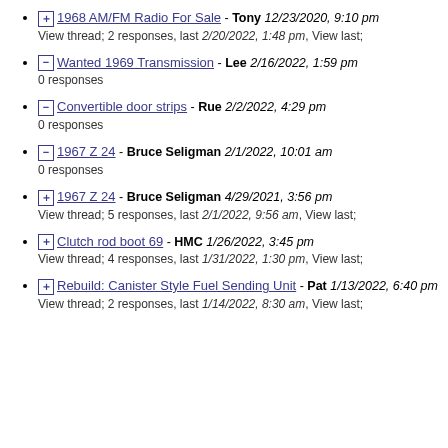1968 AM/FM Radio For Sale - Tony 12/23/2020, 9:10 pm
View thread; 2 responses, last 2/20/2022, 1:48 pm, View last;
Wanted 1969 Transmission - Lee 2/16/2022, 1:59 pm
0 responses
Convertible door strips - Rue 2/2/2022, 4:29 pm
0 responses
1967 Z 24 - Bruce Seligman 2/1/2022, 10:01 am
0 responses
1967 Z 24 - Bruce Seligman 4/29/2021, 3:56 pm
View thread; 5 responses, last 2/1/2022, 9:56 am, View last;
Clutch rod boot 69 - HMC 1/26/2022, 3:45 pm
View thread; 4 responses, last 1/31/2022, 1:30 pm, View last;
Rebuild: Canister Style Fuel Sending Unit - Pat 1/13/2022, 6:40 pm
View thread; 2 responses, last 1/14/2022, 8:30 am, View last;